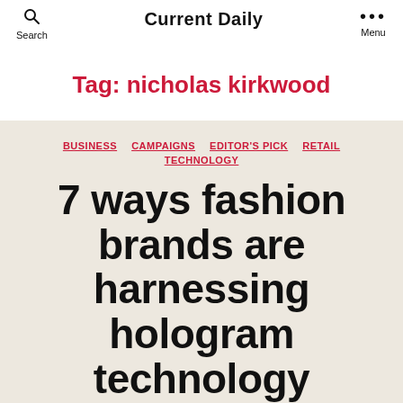Search | Current Daily | Menu
Tag: nicholas kirkwood
BUSINESS  CAMPAIGNS  EDITOR'S PICK  RETAIL  TECHNOLOGY
7 ways fashion brands are harnessing hologram technology
By Natasha Baxter  October 1, 2019